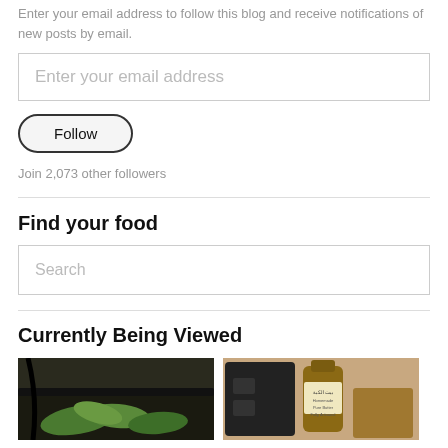Enter your email address to follow this blog and receive notifications of new posts by email.
Enter your email address
Follow
Join 2,073 other followers
Find your food
Search
Currently Being Viewed
[Figure (photo): Two food-related photos side by side: left shows green leaves in a dark pan, right shows a bottle with Arabic text and other items.]